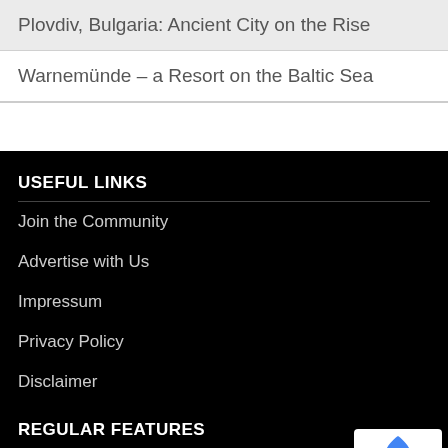Plovdiv, Bulgaria: Ancient City on the Rise
Warnemünde – a Resort on the Baltic Sea
USEFUL LINKS
Join the Community
Advertise with Us
Impressum
Privacy Policy
Disclaimer
REGULAR FEATURES
Crafts